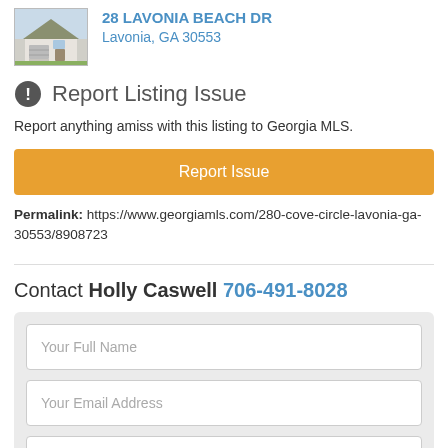[Figure (photo): Thumbnail photo of house at 28 Lavonia Beach Dr]
28 LAVONIA BEACH DR
Lavonia, GA 30553
Report Listing Issue
Report anything amiss with this listing to Georgia MLS.
Report Issue
Permalink: https://www.georgiamls.com/280-cove-circle-lavonia-ga-30553/8908723
Contact Holly Caswell 706-491-8028
Your Full Name
Your Email Address
Your Day Phone